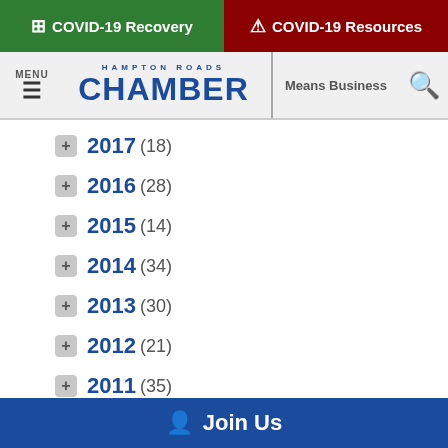[Figure (screenshot): Hampton Roads Chamber website header with COVID-19 Recovery (green) and COVID-19 Resources (dark red) banners, and navigation bar with menu, logo, and search icon]
+ 2017 (18)
+ 2016 (28)
+ 2015 (14)
+ 2014 (34)
+ 2013 (30)
+ 2012 (21)
+ 2011 (35)
+ 2010 (13)
Join Us